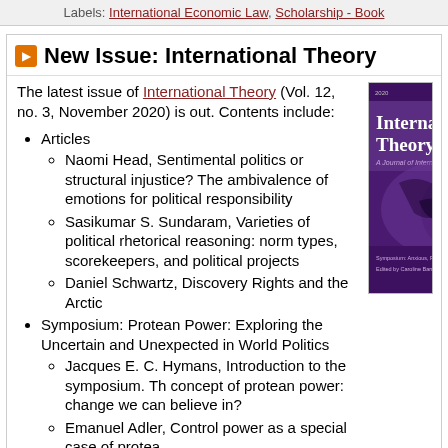Labels: International Economic Law, Scholarship - Book
New Issue: International Theory
The latest issue of International Theory (Vol. 12, no. 3, November 2020) is out. Contents include:
[Figure (illustration): Cover of the journal International Theory, Cambridge University Press, purple background with globe image]
Articles
Naomi Head, Sentimental politics or structural injustice? The ambivalence of emotions for political responsibility
Sasikumar S. Sundaram, Varieties of political rhetorical reasoning: norm types, scorekeepers, and political projects
Daniel Schwartz, Discovery Rights and the Arctic
Symposium: Protean Power: Exploring the Uncertain and Unexpected in World Politics
Jacques E. C. Hymans, Introduction to the symposium. The concept of protean power: change we can believe in?
Emanuel Adler, Control power as a special case of protean...